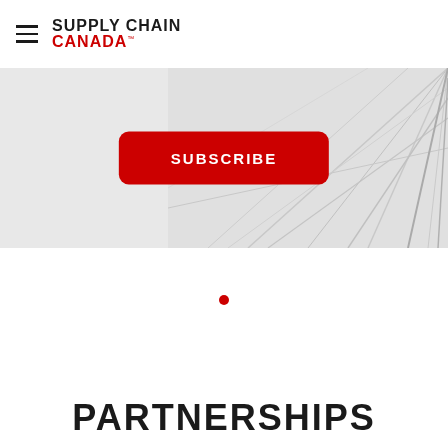SUPPLY CHAIN CANADA
[Figure (screenshot): Hero banner with light grey background, abstract network/geometric line pattern on the right side in light grey, and a red rounded rectangle SUBSCRIBE button centered in the banner.]
[Figure (other): Small red circle dot centered on white background, serving as a section separator.]
PARTNERSHIPS